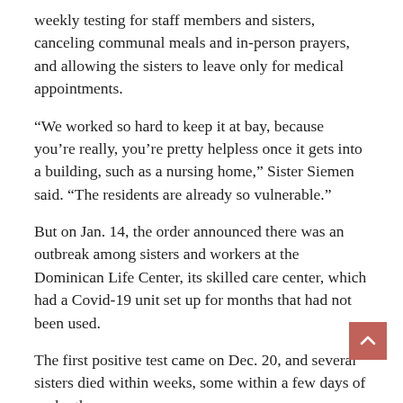weekly testing for staff members and sisters, canceling communal meals and in-person prayers, and allowing the sisters to leave only for medical appointments.
“We worked so hard to keep it at bay, because you’re really, you’re pretty helpless once it gets into a building, such as a nursing home,” Sister Siemen said. “The residents are already so vulnerable.”
But on Jan. 14, the order announced there was an outbreak among sisters and workers at the Dominican Life Center, its skilled care center, which had a Covid-19 unit set up for months that had not been used.
The first positive test came on Dec. 20, and several sisters died within weeks, some within a few days of each other.
Sister Jeannine Therese McGorray, 86, died on Jan. 11, and Sister Esther Ortega, 86, died on Jan. 14. Sister Dorothea Gramlich, 81, died on Jan. 21.
Three sisters died on Jan. 22: Sister Ann Rene Shinkey, 87;